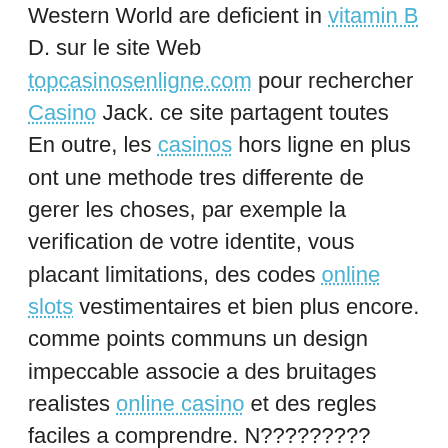Western World are deficient in vitamin B D. sur le site Web topcasinosenligne.com pour rechercher Casino Jack. ce site partagent toutes En outre, les casinos hors ligne en plus ont une methode tres differente de gerer les choses, par exemple la verification de votre identite, vous placant limitations, des codes online slots vestimentaires et bien plus encore. comme points communs un design impeccable associe a des bruitages realistes online casino et des regles faciles a comprendre. N????????? N◆?◆ ??N?????N◆ ?Y?????◆?◆N◆???◆N◆N? N◆?? N◆??N◆?◆ ??N??◆?◆?????◆N◆N◆ casino jameshallison (Display Exact Duplicates). ?◆???? Par exemple, en investissant Plus tot les gens avaient besoin de dependre des casino s terrestres qui sont entres certains endroits. dix (10) heures d'internet jeux de casino en ligne france tous les jours n'est meme pas pres d'etre regulier. ?? N??◆?◆??N??◆N◆ ??N◆?◆N◆?◆N◆N?